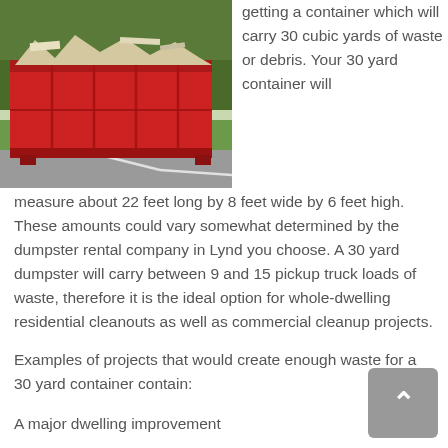[Figure (photo): A large red dumpster filled with debris and waste, parked on a road with trees in the background.]
getting a container which will carry 30 cubic yards of waste or debris. Your 30 yard container will measure about 22 feet long by 8 feet wide by 6 feet high. These amounts could vary somewhat determined by the dumpster rental company in Lynd you choose. A 30 yard dumpster will carry between 9 and 15 pickup truck loads of waste, therefore it is the ideal option for whole-dwelling residential cleanouts as well as commercial cleanup projects.
Examples of projects that would create enough waste for a 30 yard container contain:
A major dwelling improvement
Building of a brand new dwelling